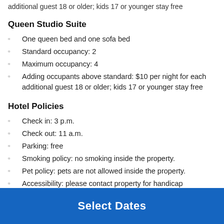additional guest 18 or older; kids 17 or younger stay free
Queen Studio Suite
One queen bed and one sofa bed
Standard occupancy: 2
Maximum occupancy: 4
Adding occupants above standard: $10 per night for each additional guest 18 or older; kids 17 or younger stay free
Hotel Policies
Check in: 3 p.m.
Check out: 11 a.m.
Parking: free
Smoking policy: no smoking inside the property.
Pet policy: pets are not allowed inside the property.
Accessibility: please contact property for handicap accessibility requests or options.
Room upgrades: upgrades may be available during booking or
Select Dates